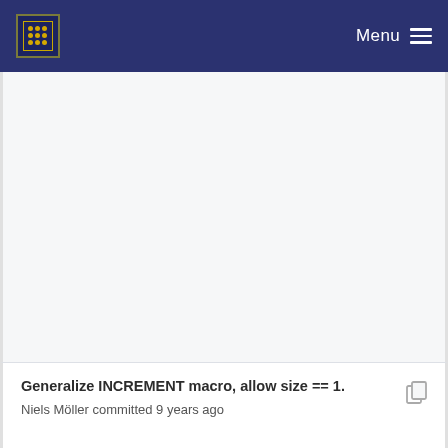Menu
[Figure (screenshot): Large empty scrollable gray content pane, part of a web UI screenshot]
Generalize INCREMENT macro, allow size == 1.
Niels Möller committed 9 years ago